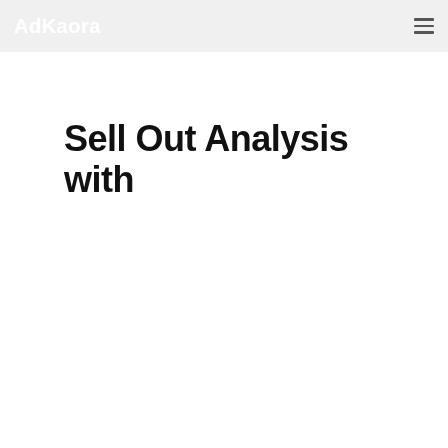AdKaora
Sell Out Analysis with